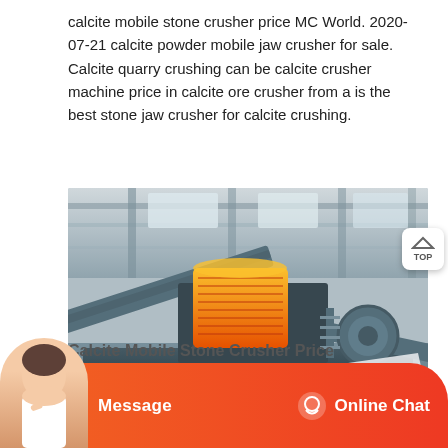calcite mobile stone crusher price MC World. 2020-07-21 calcite powder mobile jaw crusher for sale. Calcite quarry crushing can be calcite crusher machine price in calcite ore crusher from a is the best stone jaw crusher for calcite crushing.
[Figure (photo): A large yellow and black mobile stone crusher machine photographed inside an industrial warehouse/factory building with steel beam ceiling structure.]
Calcite Mobile Stone Crusher Price